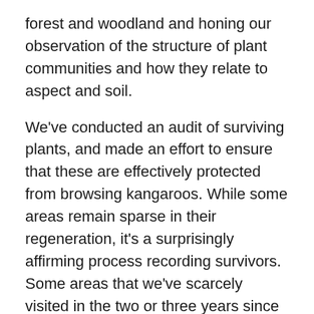forest and woodland and honing our observation of the structure of plant communities and how they relate to aspect and soil.
We've conducted an audit of surviving plants, and made an effort to ensure that these are effectively protected from browsing kangaroos. While some areas remain sparse in their regeneration, it's a surprisingly affirming process recording survivors. Some areas that we've scarcely visited in the two or three years since planting are dense with seedlings. It seems that seedlings that manage to get through their first summer have a high chance of ongoing survival, and we continue to be amazed by the capacity for dormancy and regeneration of a range of species. We've seen red gum seedlings wither to a stick in their first summer, but when the rains hit six months later they